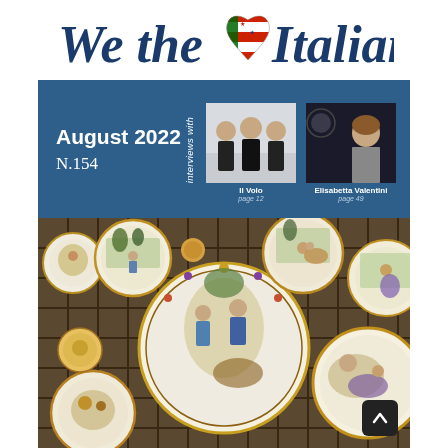[Figure (logo): We the Italians magazine logo with stylized heart combining American and Italian flag colors between 'We the' and 'Italians' in dark blue script font]
[Figure (photo): Blue banner showing August 2022 N.154 issue information with 'interviews with' text rotated vertically, and two interview photos: Il Volo (three men in black suits) page 12, and Elisabetta Valentini page 49]
[Figure (photo): Large photo of decorative Italian ceramic plates (majolica/maiolica) displayed on a rack, featuring colorful hand-painted scenes with figures, landscapes, and ornamental designs]